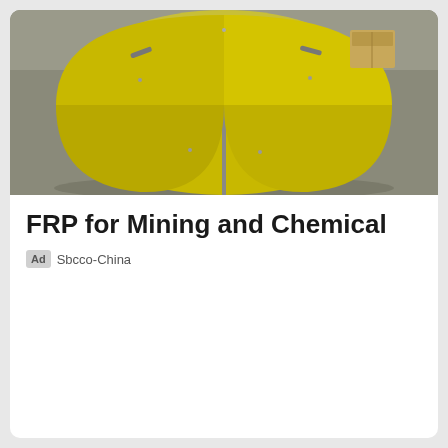[Figure (photo): Photo of a yellow FRP (fiberglass reinforced plastic) dome or tank cover, split into sections, placed on a grey concrete floor. The yellow dome has metal handles/latches and is divided into three or four pie-slice sections.]
FRP for Mining and Chemical
Ad  Sbcco-China